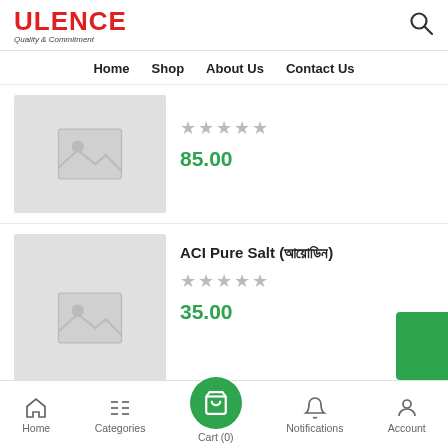[Figure (logo): ULENCE logo with tagline Quality & Commitment]
Home  Shop  About Us  Contact Us
[Figure (photo): Product image placeholder (grey box with image icon)]
85.00
[Figure (photo): Product image placeholder (grey box with image icon)]
ACI Pure Salt (আয়োডিন) ★★★★★ 35.00
Home  Categories  Cart (0)  Notifications  Account